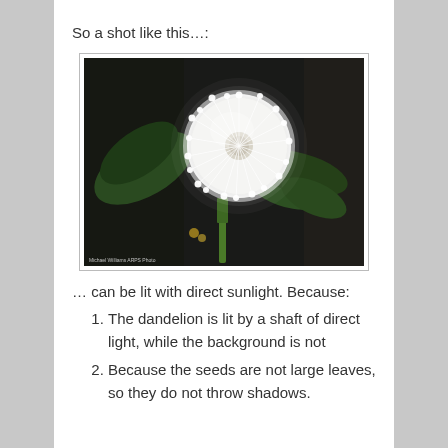So a shot like this…:
[Figure (photo): Close-up photograph of a dandelion seed head (white fluffy ball) against a dark background with green leaves. The dandelion is lit by direct sunlight, creating a bright white glow against the dark background. A small watermark is visible at the bottom left.]
… can be lit with direct sunlight. Because:
The dandelion is lit by a shaft of direct light, while the background is not
Because the seeds are not large leaves, so they do not throw shadows.